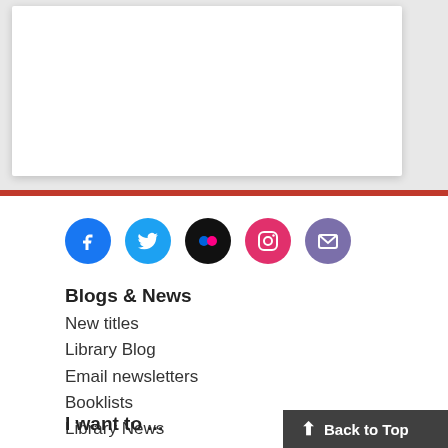[Figure (other): White card on gray background at top of page]
[Figure (infographic): Row of 5 social media icon circles: Facebook (blue), Twitter (light blue), Flickr (black), Instagram (pink), Email (purple)]
Blogs & News
New titles
Library Blog
Email newsletters
Booklists
Library News
BiblioFile blog
Admin
I want to ...
Back to Top